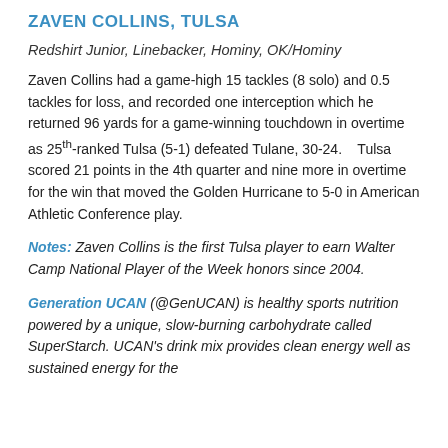ZAVEN COLLINS, TULSA
Redshirt Junior, Linebacker, Hominy, OK/Hominy
Zaven Collins had a game-high 15 tackles (8 solo) and 0.5 tackles for loss, and recorded one interception which he returned 96 yards for a game-winning touchdown in overtime as 25th-ranked Tulsa (5-1) defeated Tulane, 30-24.    Tulsa scored 21 points in the 4th quarter and nine more in overtime for the win that moved the Golden Hurricane to 5-0 in American Athletic Conference play.
Notes: Zaven Collins is the first Tulsa player to earn Walter Camp National Player of the Week honors since 2004.
Generation UCAN (@GenUCAN) is healthy sports nutrition powered by a unique, slow-burning carbohydrate called SuperStarch. UCAN's drink mix provides clean energy well as sustained energy for the...